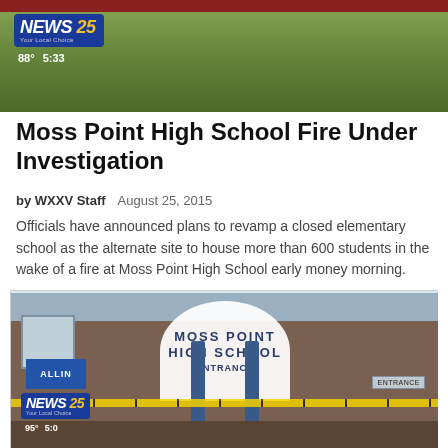[Figure (screenshot): News 25 TV broadcast screenshot showing a grassy exterior, with News 25 logo overlay showing 88° and 5:33]
Moss Point High School Fire Under Investigation
by WXXV Staff   August 25, 2015
Officials have announced plans to revamp a closed elementary school as the alternate site to house more than 600 students in the wake of a fire at Moss Point High School early money morning.
[Figure (photo): Photo of Moss Point High School entrance with a circular sign reading MOSS POINT HIGH SCHOOL ENTRANCE, yellow police tape, and News 25 logo overlay]